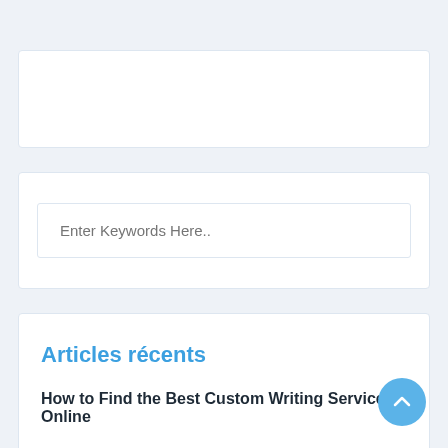[Figure (screenshot): Empty white card panel at top of page]
Enter Keywords Here..
Articles récents
How to Find the Best Custom Writing Service Online
How to Find the Best Custom Writing Service Online
How to Find the Best Custom Writing Service Online